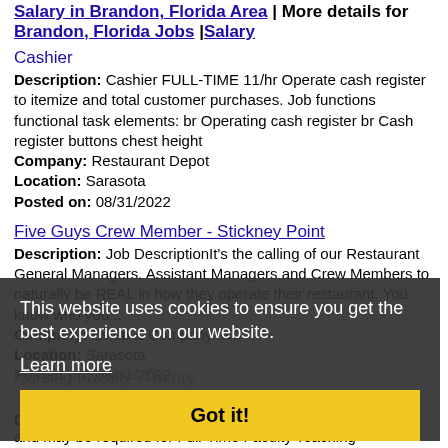Salary in Brandon, Florida Area | More details for Brandon, Florida Jobs |Salary
Cashier
Description: Cashier FULL-TIME 11/hr Operate cash register to itemize and total customer purchases. Job functions functional task elements: br Operating cash register br Cash register buttons chest height
Company: Restaurant Depot
Location: Sarasota
Posted on: 08/31/2022
Five Guys Crew Member - Stickney Point
Description: Job DescriptionIt's the calling of our Restaurant General Managers, Assistant Managers and Crew Members to naturally be REAL in how they operate their restaurant. You know who you...
Company: Estep & Company INC
Location: Sarasota
Posted on: 08/31/2022
This website uses cookies to ensure you get the best experience on our website. Learn more Got it!
Nursing Faculty- Theory
Description: Weekend and Evening Courses are available and may be required for Full-Time Faculty Teaching Experience is not